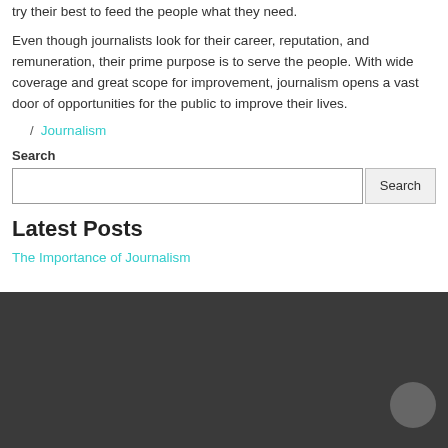try their best to feed the people what they need.
Even though journalists look for their career, reputation, and remuneration, their prime purpose is to serve the people. With wide coverage and great scope for improvement, journalism opens a vast door of opportunities for the public to improve their lives.
/ Journalism
Search
Search [input] Search [button]
Latest Posts
The Importance of Journalism
[Figure (other): Dark footer bar with a circular button element in the bottom right corner]